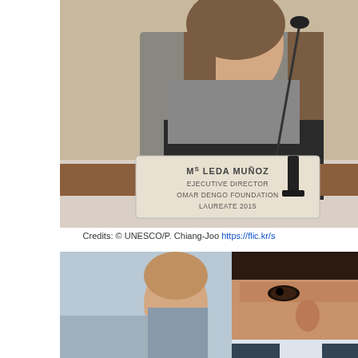[Figure (photo): A woman seated at a conference table speaking into a microphone. A nameplate in front of her reads: Ms Leda Muñoz, Executive Director, Omar Dengo Foundation, Laureate 2015.]
Credits: © UNESCO/P. Chiang-Joo https://flic.kr/s...
[Figure (photo): A man of Asian descent in the foreground at a conference, with a woman visible in the background.]